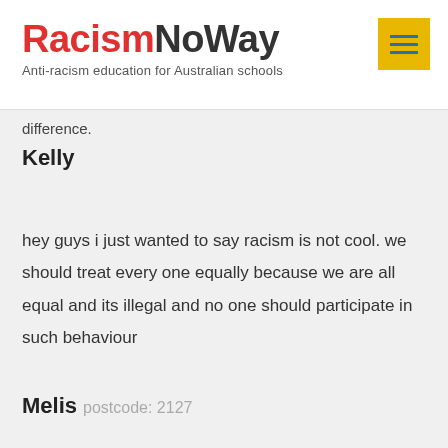RacismNoWay — Anti-racism education for Australian schools
difference.
Kelly
hey guys i just wanted to say racism is not cool. we should treat every one equally because we are all equal and its illegal and no one should participate in such behaviour
Melis postcode: 2127
I believe there needs to be stronger laws against racism. We need to stand up to people in a non...